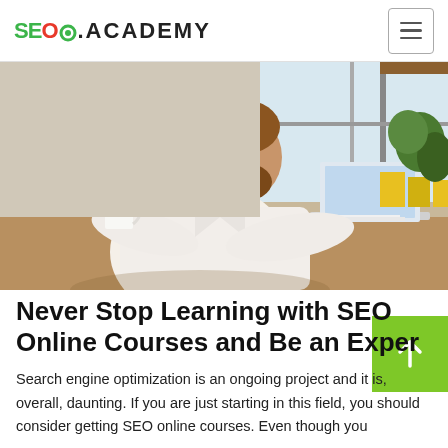SEO.ACADEMY
[Figure (photo): Man in white shirt sitting at a desk, holding a coffee cup and working on a laptop in a bright office/cafe setting]
Never Stop Learning with SEO Online Courses and Be an Expert
Search engine optimization is an ongoing project and it is, overall, daunting. If you are just starting in this field, you should consider getting SEO online courses. Even though you